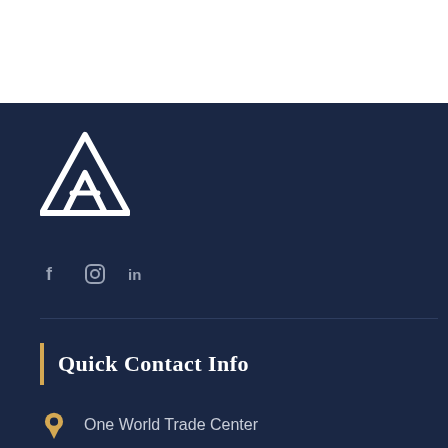[Figure (logo): White geometric triangle/mountain logo mark on dark navy background]
[Figure (infographic): Social media icons: Facebook (f), Instagram (circle camera), LinkedIn (in) in light grey on dark navy background]
Quick Contact Info
One World Trade Center